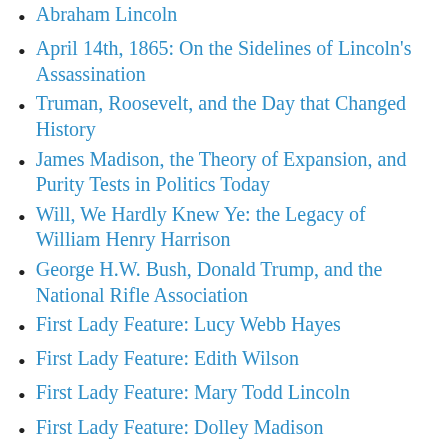Abraham Lincoln
April 14th, 1865: On the Sidelines of Lincoln's Assassination
Truman, Roosevelt, and the Day that Changed History
James Madison, the Theory of Expansion, and Purity Tests in Politics Today
Will, We Hardly Knew Ye: the Legacy of William Henry Harrison
George H.W. Bush, Donald Trump, and the National Rifle Association
First Lady Feature: Lucy Webb Hayes
First Lady Feature: Edith Wilson
First Lady Feature: Mary Todd Lincoln
First Lady Feature: Dolley Madison
First Lady Feature: Abigail Adams
First Lady Feature: Barbara Bush